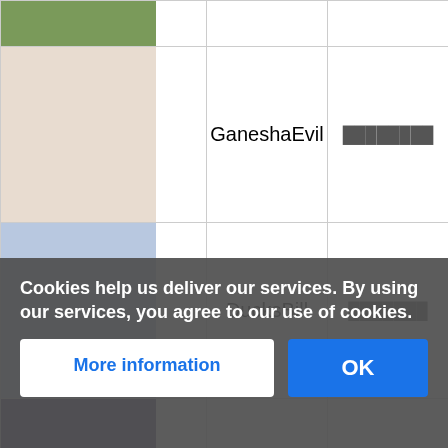| Image | Name | Category | Level | HP |
| --- | --- | --- | --- | --- |
| [image] |  |  |  |  |
| [image] | GaneshaEvil | ████████ | 92 | 3574 |
| [image] | DucksBill | ███████ | 92 | 3388 |
| [image] | Gamegon | ████ | 92 | 4700 |
| [image] | Geruba | ███████ | 92 | 4681 |
| [image] | MarsFace | ███████ | 92 | 3572 |
| [image] | B... | ███████ | 92 | █3000 |
Cookies help us deliver our services. By using our services, you agree to our use of cookies.